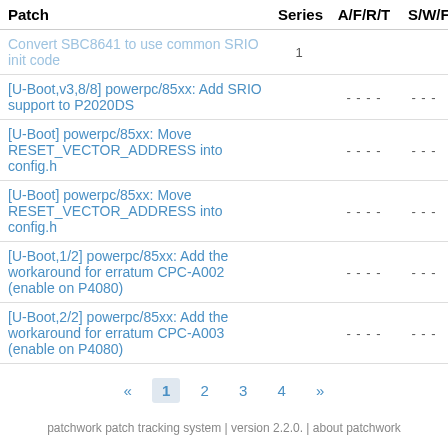| Patch | Series | A/F/R/T | S/W/F |
| --- | --- | --- | --- |
| Convert SBC8641 to use common SRIO init code | 1 |  |  |
| [U-Boot,v3,8/8] powerpc/85xx: Add SRIO support to P2020DS |  | - - - - | - - - |
| [U-Boot] powerpc/85xx: Move RESET_VECTOR_ADDRESS into config.h |  | - - - - | - - - |
| [U-Boot] powerpc/85xx: Move RESET_VECTOR_ADDRESS into config.h |  | - - - - | - - - |
| [U-Boot,1/2] powerpc/85xx: Add the workaround for erratum CPC-A002 (enable on P4080) |  | - - - - | - - - |
| [U-Boot,2/2] powerpc/85xx: Add the workaround for erratum CPC-A003 (enable on P4080) |  | - - - - | - - - |
« 1 2 3 4 »
patchwork patch tracking system | version 2.2.0. | about patchwork